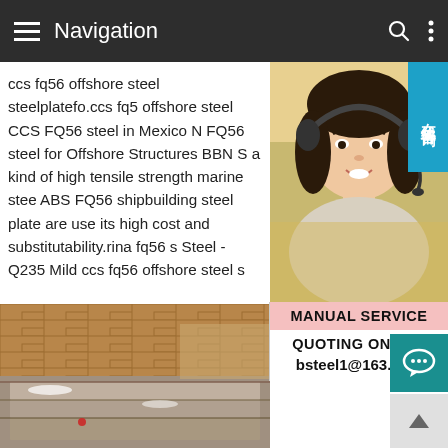Navigation
ccs fq56 offshore steel steelplatefo.ccs fq56 offshore steel CCS FQ56 steel in Mexico N FQ56 steel for Offshore Structures BBN S a kind of high tensile strength marine stee ABS FQ56 shipbuilding steel plate are use its high cost and substitutability.rina fq56 s Steel - Q235 Mild ccs fq56 offshore steel s
[Figure (photo): Customer service representative, Asian woman wearing headset, smiling, with yellow/warm background]
在线咨询
MANUAL SERVICE
QUOTING ONLINE
bsteel1@163.com
[Figure (photo): Steel plates stacked outdoors in a yard, grey/brown tones, snow or white material visible]